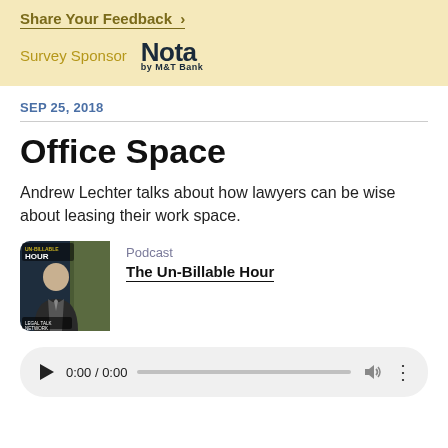Share Your Feedback →
Survey Sponsor  Nota by M&T Bank
SEP 25, 2018
Office Space
Andrew Lechter talks about how lawyers can be wise about leasing their work space.
[Figure (photo): Un-Billable Hour podcast cover art showing a man in a suit with text UN-BILLABLE HOUR and Legal Talk Network logo]
Podcast
The Un-Billable Hour
0:00 / 0:00